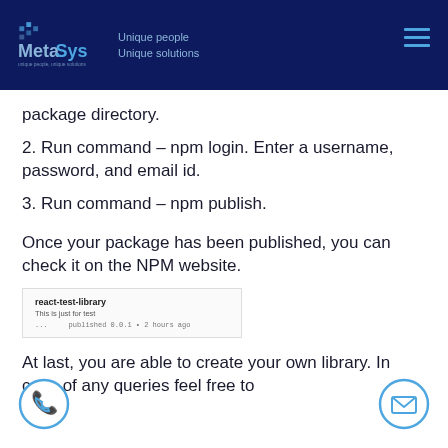MetaSys — Unique people Unique solutions
package directory.
2. Run command – npm login. Enter a username, password, and email id.
3. Run command – npm publish.
Once your package has been published, you can check it on the NPM website.
[Figure (screenshot): NPM website listing showing react-test-library, description 'This is just for test', published 0.0.1 • 2 hours ago]
At last, you are able to create your own library. In case of any queries feel free to